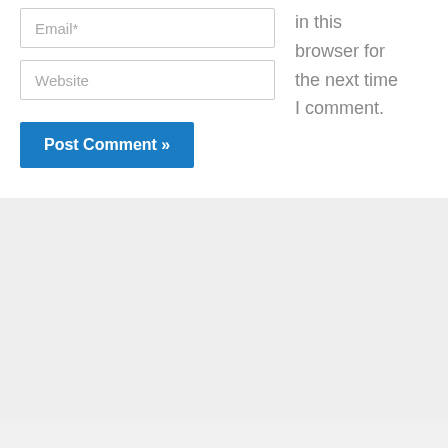Email*
in this browser for the next time I comment.
Website
Post Comment »